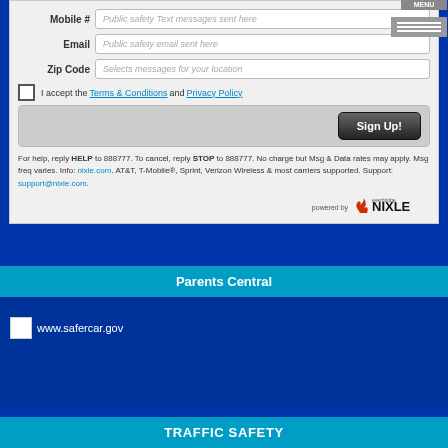Mobile # | Public safety Text messages sent here
Email | Public safety email sent here
Zip Code | Selects messages for your location
I accept the Terms & Conditions and Privacy Policy
Sign Up!
For help, reply HELP to 888777. To cancel, reply STOP to 888777. No charge but Msg & Data rates may apply. Msg freq varies. Info: nixle.com. AT&T, T-Mobile®, Sprint, Verizon Wireless & most carriers supported. Support: support@nixle.com.
[Figure (logo): powered by Nixle (Everbridge) logo]
Parents Central
www.safercar.gov
TRAFFIC SAFETY